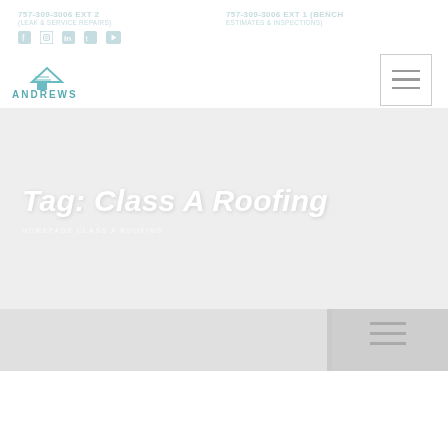757-309-3006 EXT 2 (LEAK & SERVICE REPAIRS) | 757-309-3006 EXT 1 (BENCH ESTIMATES & INSPECTIONS)
[Figure (logo): Andrews roofing company logo with house/roof icon and ANDREWS text in teal/blue]
Tag: Class A Roofing
HOMEPAGE CLASS A ROOFING